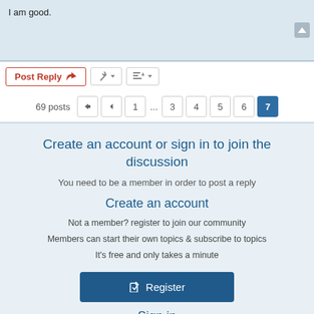I am good.
[Figure (screenshot): Forum toolbar with Post Reply button, wrench/settings button with dropdown, sort button with dropdown]
[Figure (screenshot): Pagination: 69 posts, navigation arrows, pages 1 ... 3 4 5 6 7 (7 active)]
Create an account or sign in to join the discussion
You need to be a member in order to post a reply
Create an account
Not a member? register to join our community
Members can start their own topics & subscribe to topics
It's free and only takes a minute
[Figure (screenshot): Register button]
Sign in
U...